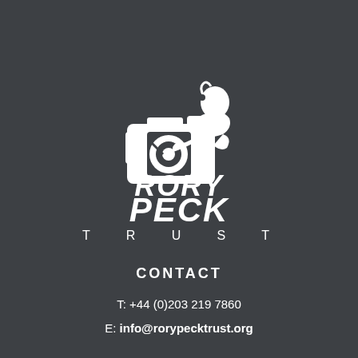[Figure (logo): Rory Peck Trust logo — silhouette of a cameraman with camera equipment, with bold italic text RORY PECK and spaced TRUST beneath]
CONTACT
T: +44 (0)203 219 7860
E: info@rorypecktrust.org
P.O. BOX 70491
London, W7 9EL